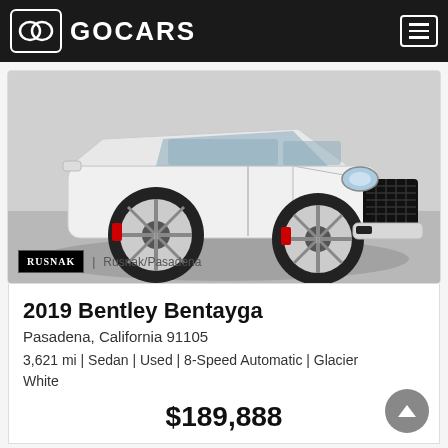GOCARS
[Figure (photo): White 2019 Bentley Bentayga SUV photographed in a dealership showroom. The vehicle is white (Glacier White) shown from a front three-quarter angle. Rusnak/Pasadena dealer badge visible in lower left corner of photo.]
2019 Bentley Bentayga
Pasadena, California 91105
3,621 mi | Sedan | Used | 8-Speed Automatic | Glacier White
$189,888